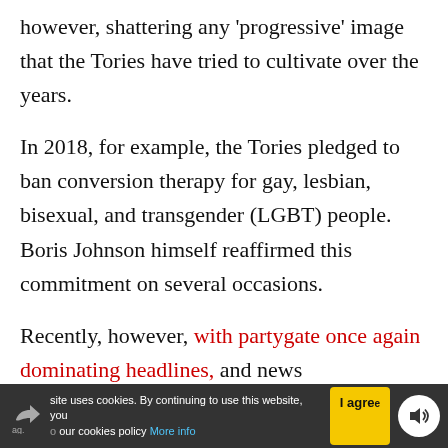however, shattering any 'progressive' image that the Tories have tried to cultivate over the years.
In 2018, for example, the Tories pledged to ban conversion therapy for gay, lesbian, bisexual, and transgender (LGBT) people. Boris Johnson himself reaffirmed this commitment on several occasions.
Recently, however, with partygate once again dominating headlines, and news
site uses cookies. By continuing to use this website, you [agree to] our cookies policy More info | I agree